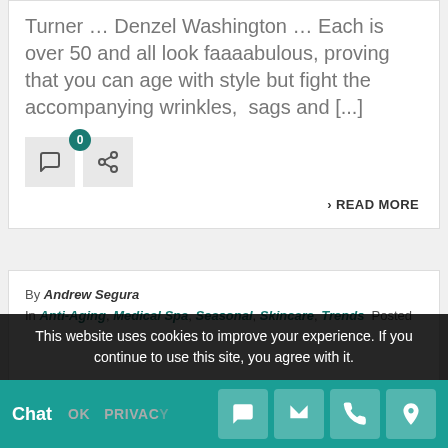Turner … Denzel Washington … Each is over 50 and all look faaaabulous, proving that you can age with style but fight the accompanying wrinkles, sags and [...]
[Figure (other): Comment icon button with badge showing 0, and share icon button]
› READ MORE
By Andrew Segura
In Anti-Aging, Medical Spa, Seasonal, Skincare, Trends Posted
This website uses cookies to improve your experience. If you continue to use this site, you agree with it.
Chat  OK  PRIVACY POLICY